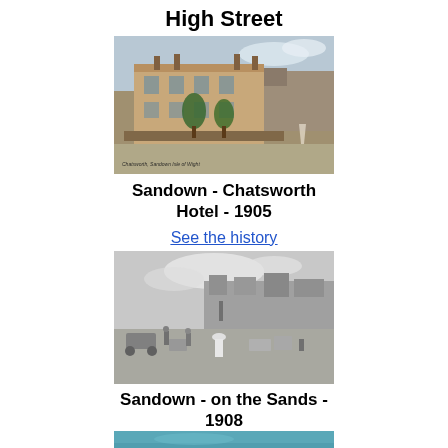High Street
[Figure (photo): Old coloured postcard photograph of Chatsworth Hotel, Sandown, Isle of Wight, circa 1905. A large Victorian building with trees and a garden wall in the foreground. Caption at bottom left reads 'Chatsworth, Sandown Isle of Wight'.]
Sandown - Chatsworth Hotel - 1905
See the history
[Figure (photo): Black and white photograph of Sandown beach, 1908. People and horse-drawn carriages on the sand, with buildings and a pier visible in the background.]
Sandown - on the Sands - 1908
[Figure (photo): Partial view of a colour photograph at the bottom of the page, appears to show a coastal or water scene with blue-green tones.]